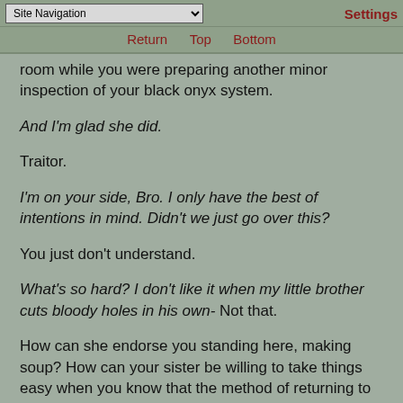Site Navigation | Settings
Return  Top  Bottom
room while you were preparing another minor inspection of your black onyx system.
And I'm glad she did.
Traitor.
I'm on your side, Bro. I only have the best of intentions in mind. Didn't we just go over this?
You just don't understand.
What's so hard? I don't like it when my little brother cuts bloody holes in his own- Not that.
How can she endorse you standing here, making soup? How can your sister be willing to take things easy when you know that the method of returning to her life is close at hand?